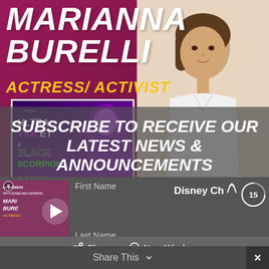MARIANNA BURELLI
ACTRESS/ ACTIVIST
[Figure (photo): Photo of Marianna Burelli, a young woman with brown hair wearing a white top, posed against light background]
[Figure (screenshot): Disney show thumbnail: Ultra Violet & Black Scorpion animated show poster with purple/pink theme]
SUBSCRIBE TO RECEIVE OUR LATEST NEWS & ANNOUNCEMENTS
[Figure (screenshot): Podcast player UI showing Art of Kindness podcast with Marianna Burelli thumbnail and playback controls]
First Name
Disney Ch
Last Name
Share
New Window
Email
Share This
×